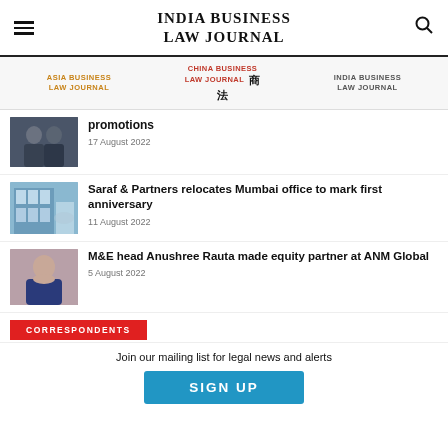INDIA BUSINESS LAW JOURNAL
[Figure (screenshot): Navigation bar with Asia Business Law Journal, China Business Law Journal, India Business Law Journal logos]
promotions
17 August 2022
Saraf & Partners relocates Mumbai office to mark first anniversary
11 August 2022
M&E head Anushree Rauta made equity partner at ANM Global
5 August 2022
CORRESPONDENTS
Join our mailing list for legal news and alerts
SIGN UP